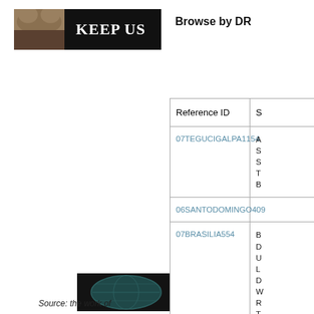[Figure (logo): Keep Us banner with bear image and white text KEEP US on black background]
Browse by DR
[Figure (logo): WikiLeaks globe logo icon in dark teal]
| Reference ID | S |
| --- | --- |
| 07TEGUCIGALPA1154 | A S S T B |
| 06SANTODOMINGO409 |  |
| 07BRASILIA554 | B D U L D W R T |
Source: the work of